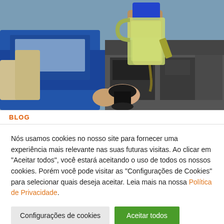[Figure (photo): A mechanic pouring motor oil from a blue and translucent green container into a car engine funnel, with a blue car visible in the background.]
BLOG
Nós usamos cookies no nosso site para fornecer uma experiência mais relevante nas suas futuras visitas. Ao clicar em "Aceitar todos", você estará aceitando o uso de todos os nossos cookies. Porém você pode visitar as "Configurações de Cookies" para selecionar quais deseja aceitar. Leia mais na nossa Política de Privacidade.
Configurações de cookies
Aceitar todos